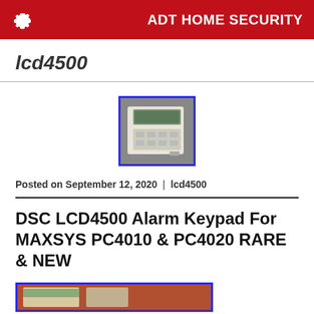ADT HOME SECURITY
lcd4500
[Figure (photo): Photo of a DSC LCD4500 alarm keypad, white rectangular device with a small LCD display at the top, with a blue border around the image.]
Posted on September 12, 2020 | lcd4500
DSC LCD4500 Alarm Keypad For MAXSYS PC4010 & PC4020 RARE & NEW
[Figure (photo): Partial photo of a security keypad device, cropped at the bottom of the page, with a blue border.]